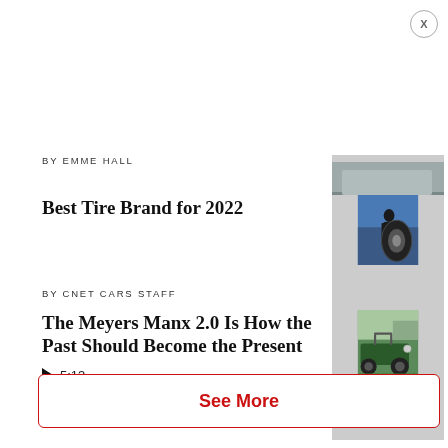BY EMME HALL
[Figure (photo): Close-up photo of a dark car on pavement]
Best Tire Brand for 2022
[Figure (photo): Man crouching beside a blue car working on a large tire in a garage]
BY CNET CARS STAFF
The Meyers Manx 2.0 Is How the Past Should Become the Present
[Figure (photo): Green Meyers Manx 2.0 dune buggy on grass at an outdoor event]
▶ 5:13
See More